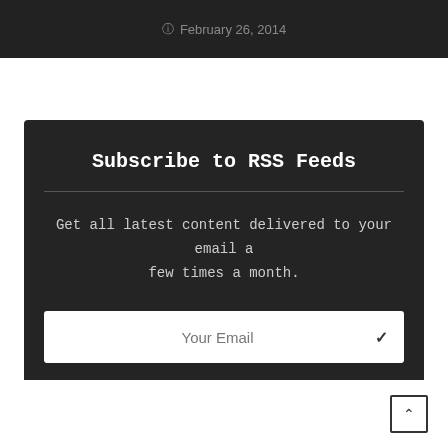February 26, 2014
Subscribe to RSS Feeds
Get all latest content delivered to your email a few times a month.
Your Email